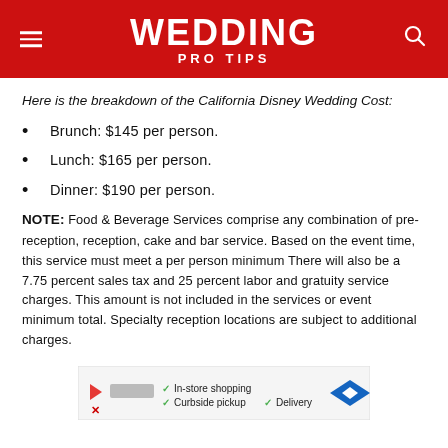WEDDING PRO TIPS
Here is the breakdown of the California Disney Wedding Cost:
Brunch: $145 per person.
Lunch: $165 per person.
Dinner: $190 per person.
NOTE: Food & Beverage Services comprise any combination of pre-reception, reception, cake and bar service. Based on the event time, this service must meet a per person minimum There will also be a 7.75 percent sales tax and 25 percent labor and gratuity service charges. This amount is not included in the services or event minimum total. Specialty reception locations are subject to additional charges.
[Figure (other): Advertisement banner showing a store logo with play button and X icons, checkmarks next to 'In-store shopping', 'Curbside pickup', 'Delivery', and a blue diamond-shaped navigation arrow icon.]